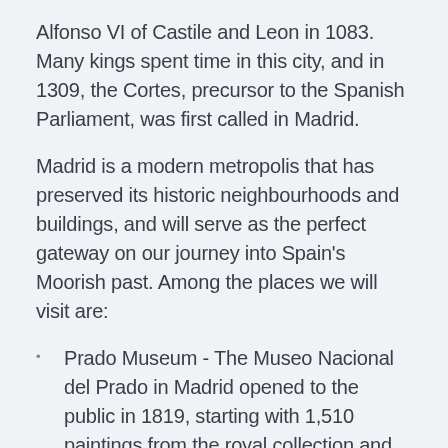Alfonso VI of Castile and Leon in 1083. Many kings spent time in this city, and in 1309, the Cortes, precursor to the Spanish Parliament, was first called in Madrid.
Madrid is a modern metropolis that has preserved its historic neighbourhoods and buildings, and will serve as the perfect gateway on our journey into Spain's Moorish past. Among the places we will visit are:
Prado Museum - The Museo Nacional del Prado in Madrid opened to the public in 1819, starting with 1,510 paintings from the royal collection and which grew throughout the centuries.
Royal Palace - which grew from a Moorish alcazar to the largest functioning royal palace in Europe.